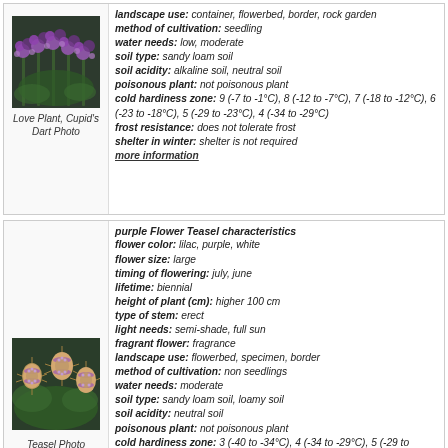[Figure (photo): Love Plant / Cupid's Dart purple wildflower photo]
Love Plant, Cupid's Dart Photo
landscape use: container, flowerbed, border, rock garden
method of cultivation: seedling
water needs: low, moderate
soil type: sandy loam soil
soil acidity: alkaline soil, neutral soil
poisonous plant: not poisonous plant
cold hardiness zone: 9 (-7 to -1°C), 8 (-12 to -7°C), 7 (-18 to -12°C), 6 (-23 to -18°C), 5 (-29 to -23°C), 4 (-34 to -29°C)
frost resistance: does not tolerate frost
shelter in winter: shelter is not required
more information
[Figure (photo): Teasel plant with purple spiky flowers photo]
Teasel Photo
purple Flower Teasel characteristics
flower color: lilac, purple, white
flower size: large
timing of flowering: july, june
lifetime: biennial
height of plant (cm): higher 100 cm
type of stem: erect
light needs: semi-shade, full sun
fragrant flower: fragrance
landscape use: flowerbed, specimen, border
method of cultivation: non seedlings
water needs: moderate
soil type: sandy loam soil, loamy soil
soil acidity: neutral soil
poisonous plant: not poisonous plant
cold hardiness zone: 3 (-40 to -34°C), 4 (-34 to -29°C), 5 (-29 to -23°C), 6 (-23 to -18°C), 7 (-18 to -12°C), 8 (-12 to -7°C)